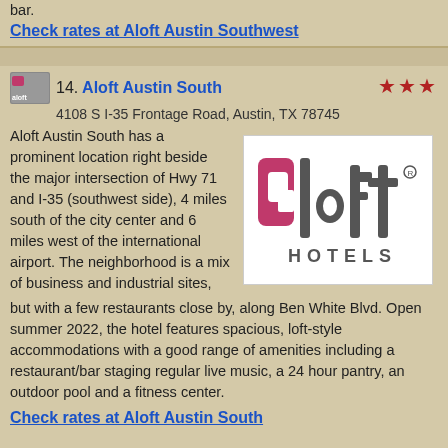bar.
Check rates at Aloft Austin Southwest
14. Aloft Austin South
4108 S I-35 Frontage Road, Austin, TX 78745
Aloft Austin South has a prominent location right beside the major intersection of Hwy 71 and I-35 (southwest side), 4 miles south of the city center and 6 miles west of the international airport. The neighborhood is a mix of business and industrial sites, but with a few restaurants close by, along Ben White Blvd. Open summer 2022, the hotel features spacious, loft-style accommodations with a good range of amenities including a restaurant/bar staging regular live music, a 24 hour pantry, an outdoor pool and a fitness center.
[Figure (logo): Aloft Hotels logo — large stylized 'aloft' text in dark grey with a pink/magenta square on the 'a', and 'HOTELS' in spaced capitals below]
Check rates at Aloft Austin South